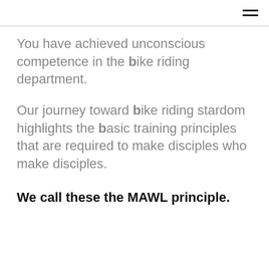You have achieved unconscious competence in the bike riding department.
Our journey toward bike riding stardom highlights the basic training principles that are required to make disciples who make disciples.
We call these the MAWL principle.